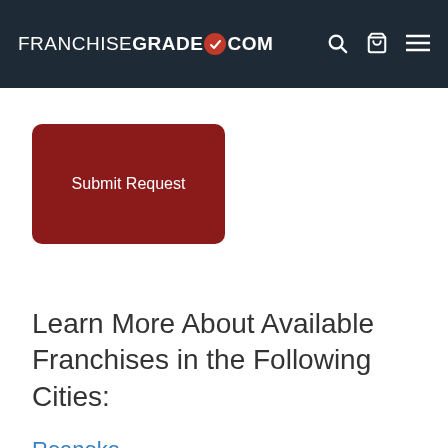FRANCHISEGRADE.COM
[Figure (other): Submit Request button — dark red rounded rectangle with white text]
Learn More About Available Franchises in the Following Cities:
Roanoke
Richmond